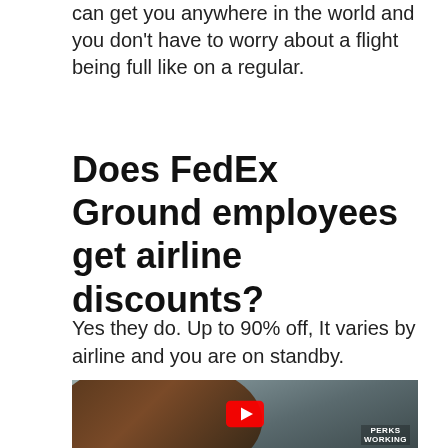can get you anywhere in the world and you don't have to worry about a flight being full like on a regular.
Does FedEx Ground employees get airline discounts?
Yes they do. Up to 90% off, It varies by airline and you are on standby.
[Figure (photo): YouTube video thumbnail showing a man wearing sunglasses holding up his hand in what appears to be a loading dock setting, with a red YouTube play button overlay and text 'PERKS WORKING' in the lower right corner.]